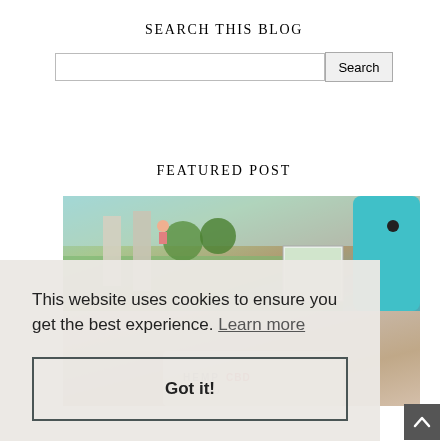SEARCH THIS BLOG
[Figure (screenshot): Search bar with text input field and Search button]
FEATURED POST
[Figure (photo): Featured post image showing Animal Crossing game on Nintendo Switch and a Hemp CBD product below]
This website uses cookies to ensure you get the best experience. Learn more
Got it!